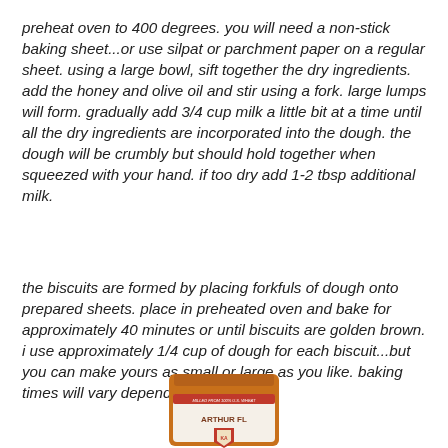preheat oven to 400 degrees. you will need a non-stick baking sheet...or use silpat or parchment paper on a regular sheet. using a large bowl, sift together the dry ingredients. add the honey and olive oil and stir using a fork. large lumps will form. gradually add 3/4 cup milk a little bit at a time until all the dry ingredients are incorporated into the dough. the dough will be crumbly but should hold together when squeezed with your hand. if too dry add 1-2 tbsp additional milk.
the biscuits are formed by placing forkfuls of dough onto prepared sheets. place in preheated oven and bake for approximately 40 minutes or until biscuits are golden brown. i use approximately 1/4 cup of dough for each biscuit...but you can make yours as small or large as you like. baking times will vary depending on size.
[Figure (photo): Partial view of a King Arthur Flour bag, showing the top and label portion of the bag in orange/brown color.]